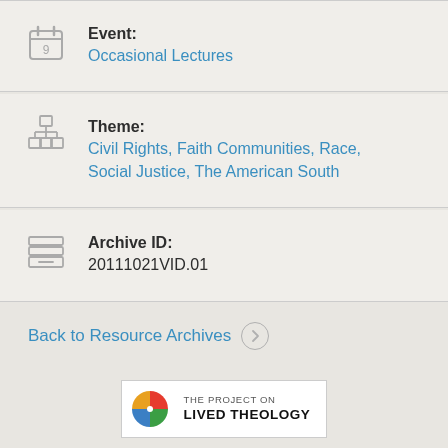Event: Occasional Lectures
Theme: Civil Rights, Faith Communities, Race, Social Justice, The American South
Archive ID: 20111021VID.01
Back to Resource Archives
[Figure (logo): The Project on Lived Theology logo with colorful pinwheel icon]
[Figure (logo): University of Virginia logo with dome icon]